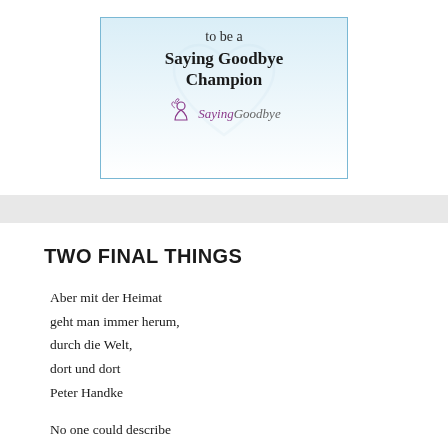[Figure (illustration): Book cover image for 'Saying Goodbye Champion' with a light blue gradient background, bold title text, a watermark heart shape, and the Saying Goodbye logo with a small icon of figures.]
TWO FINAL THINGS
Aber mit der Heimat
geht man immer herum,
durch die Welt,
dort und dort
Peter Handke
No one could describe
the Word of the Father;